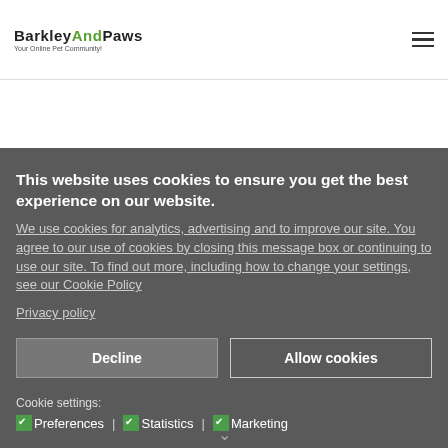BarkleyAndPaws — Your Online Pet Community!
This website uses cookies to ensure you get the best experience on our website.
We use cookies for analytics, advertising and to improve our site. You agree to our use of cookies by closing this message box or continuing to use our site. To find out more, including how to change your settings, see our Cookie Policy
Privacy policy
Decline
Allow cookies
Cookie settings:
Preferences | Statistics | Marketing